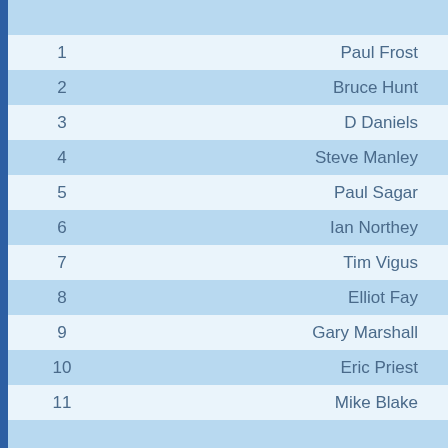| # | Name |
| --- | --- |
| 1 | Paul Frost |
| 2 | Bruce Hunt |
| 3 | D Daniels |
| 4 | Steve Manley |
| 5 | Paul Sagar |
| 6 | Ian Northey |
| 7 | Tim Vigus |
| 8 | Elliot Fay |
| 9 | Gary Marshall |
| 10 | Eric Priest |
| 11 | Mike Blake |
|  |  |
|  | Top Pond |
|  |  |